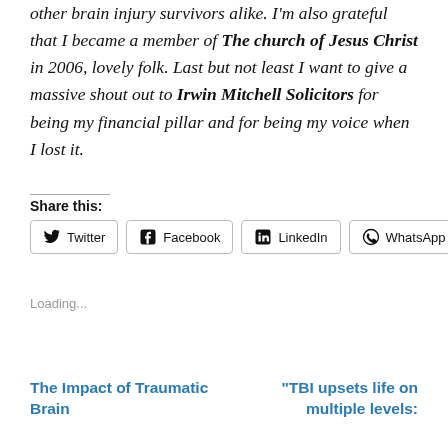other brain injury survivors alike. I'm also grateful that I became a member of The church of Jesus Christ in 2006, lovely folk. Last but not least I want to give a massive shout out to Irwin Mitchell Solicitors for being my financial pillar and for being my voice when I lost it.
Share this:
Twitter | Facebook | LinkedIn | WhatsApp
Loading...
The Impact of Traumatic Brain
"TBI upsets life on multiple levels: